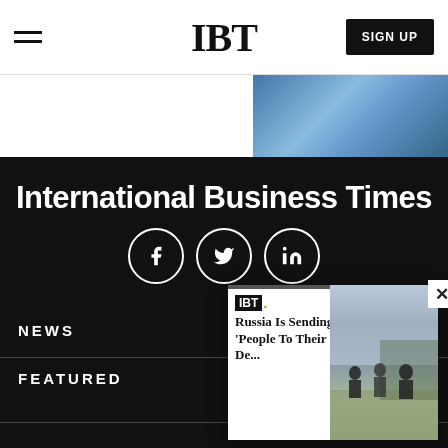IBT
[Figure (screenshot): IBT website navigation bar with hamburger menu, IBT logo, and SIGN UP button. Below is a partial blue image strip at top right.]
International Business Times
[Figure (infographic): Social media icons: Facebook (f), Twitter (bird), LinkedIn (in) — white circles on black background]
[Figure (screenshot): Popup overlay showing IBT. logo and headline: Russia Is Sending 'People To Their De...' with a photo of soldiers walking]
NEWS
FEATURED